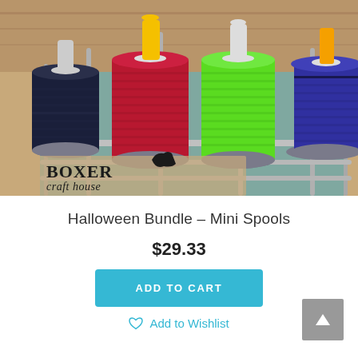[Figure (photo): Photo of colorful embroidery thread mini spools on a rack stand. Shows dark navy, red/pink, bright green, and dark blue/purple spools. 'BOXER craft house' logo with a boxer dog silhouette is visible at the bottom left of the image.]
Halloween Bundle – Mini Spools
$29.33
ADD TO CART
Add to Wishlist